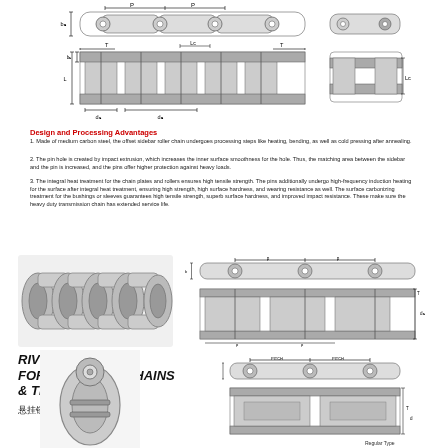[Figure (engineering-diagram): Technical drawing of offset sidebar roller chain showing top view with pitch dimensions P, and side elevation with dimensions T, L, b1, d1, d2, Lc. Also shows end link detail.]
Design and Processing Advantages
1. Made of medium carbon steel, the offset sidebar roller chain undergoes processing steps like heating, bending, as well as cold pressing after annealing.
2. The pin hole is created by impact extrusion, which increases the inner surface smoothness for the hole. Thus, the matching area between the sidebar and the pin is increased, and the pins offer higher protection against heavy loads.
3. The integral heat treatment for the chain plates and rollers ensures high tensile strength. The pins additionally undergo high-frequency induction heating for the surface after integral heat treatment, ensuring high strength, high surface hardness, and wearing resistance as well. The surface carbonizing treatment for the bushings or sleeves guarantees high tensile strength, superb surface hardness, and improved impact resistance. These make sure the heavy duty transmission chain has extended service life.
[Figure (photo): Photograph of a roller chain segment showing multiple links]
[Figure (engineering-diagram): Technical drawing of rivetless drop forged chain showing top and side views with PITCH dimensions labeled]
RIVETLESS DROP FORGED (CAST) CHAINS & TROLLEY
悬挂链与挂架
[Figure (engineering-diagram): Photo/diagram of rivetless drop forged chain link and trolley with technical drawing showing pitch, T, d dimensions and Regular Type label]